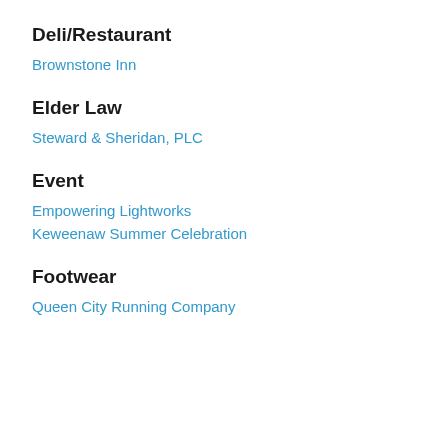Deli/Restaurant
Brownstone Inn
Elder Law
Steward & Sheridan, PLC
Event
Empowering Lightworks
Keweenaw Summer Celebration
Footwear
Queen City Running Company